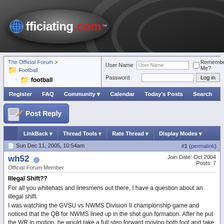[Figure (logo): Officiating.com logo on dark oval background with globe icon]
| The Official Forum > Football > football | User Name | Password | Log in | Remember Me? |
Register   FAQ   Community   Calendar   Today's Posts   Search
[Figure (other): Post Reply button with pencil/paper icon]
LinkBack   Thread Tools   Rate Thread   Display Modes
Sun Dec 11, 2005, 10:54am   #1 (permalink)
wh52   Official Forum Member   Join Date: Oct 2004   Posts: 7
Illegal Shift??
For all you whitehats and linesmens out there, I have a question about an illegal shift.
I was watching the GVSU vs NWMS Division II championship game and noticed that the QB for NWMS lined up in the shot gun formation. After he put the WR in motion, he would take a full step forward moving both foot and take the snap. The man in